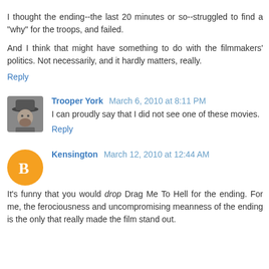I thought the ending--the last 20 minutes or so--struggled to find a "why" for the troops, and failed.

And I think that might have something to do with the filmmakers' politics. Not necessarily, and it hardly matters, really.
Reply
Trooper York March 6, 2010 at 8:11 PM
I can proudly say that I did not see one of these movies.
Reply
Kensington March 12, 2010 at 12:44 AM
It's funny that you would drop Drag Me To Hell for the ending. For me, the ferociousness and uncompromising meanness of the ending is the only that really made the film stand out.